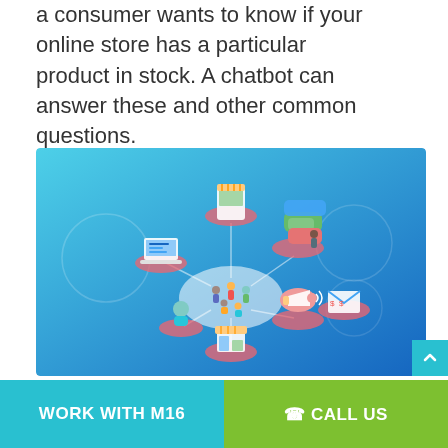a consumer wants to know if your online store has a particular product in stock. A chatbot can answer these and other common questions.
[Figure (illustration): Isometric illustration on a blue gradient background showing interconnected e-commerce icons including a mobile storefront, laptop, chat bubbles, megaphone, people figures, and physical store, connected by lines to a central hub of people representing multichannel commerce.]
WORK WITH M16   CALL US